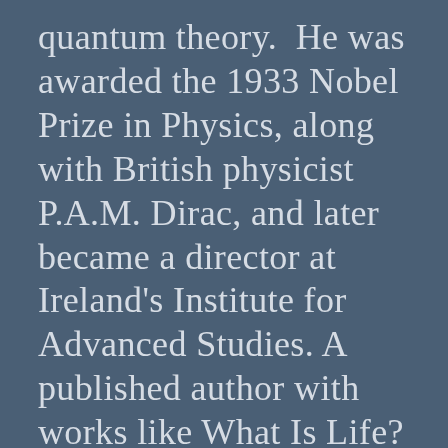quantum theory.  He was awarded the 1933 Nobel Prize in Physics, along with British physicist P.A.M. Dirac, and later became a director at Ireland's Institute for Advanced Studies. A published author with works like What Is Life?
In 1927, Schrödinger left his